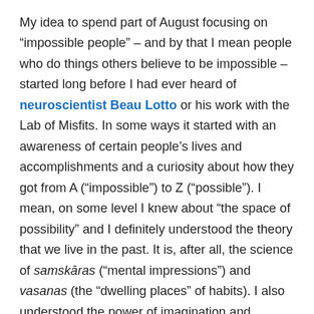My idea to spend part of August focusing on “impossible people” – and by that I mean people who do things others believe to be impossible – started long before I had ever heard of neuroscientist Beau Lotto or his work with the Lab of Misfits. In some ways it started with an awareness of certain people’s lives and accomplishments and a curiosity about how they got from A (“impossible”) to Z (“possible”). I mean, on some level I knew about “the space of possibility” and I definitely understood the theory that we live in the past. It is, after all, the science of samskāras (“mental impressions”) and vasanas (the “dwelling places” of habits). I also understood the power of imagination and visualization; often referenced the idea that an epiphany (“striking appearance” or “manifestation”) happens because the mind-intellect is prepared for the